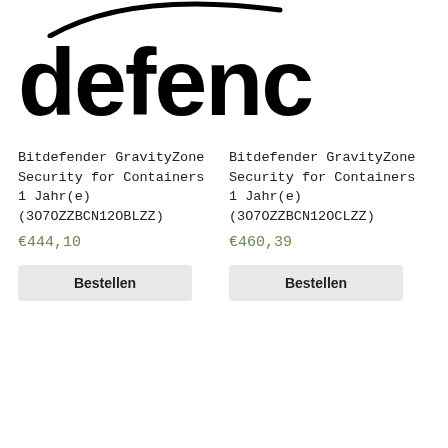[Figure (logo): Partial Bitdefender logo showing curved line at top and large bold text 'defenc' (cropped, rest off-page)]
Bitdefender GravityZone Security for Containers 1 Jahr(e) (3O7OZZBCN12OBLZZ)
€444,10
Bestellen
Bitdefender GravityZone Security for Containers 1 Jahr(e) (3O7OZZBCN12OCLZZ)
€460,39
Bestellen